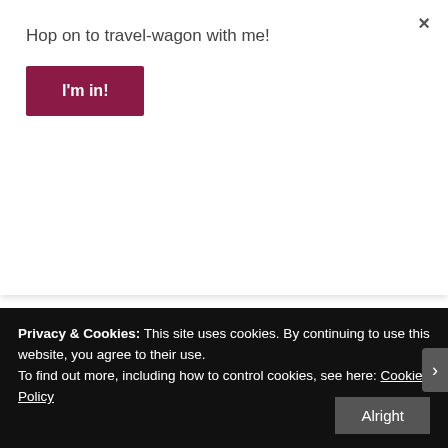Hop on to travel-wagon with me!
I'm in!
blog and I'm impressed! Very useful information 🙂 Thank you and best of luck.
4RX   May 2, 2017 at 9:28 PM   REPLY →
Privacy & Cookies: This site uses cookies. By continuing to use this website, you agree to their use.
To find out more, including how to control cookies, see here: Cookie Policy